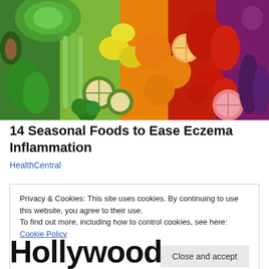[Figure (photo): Colorful array of fresh fruits and vegetables arranged in a rainbow pattern including green cabbage, celery, kiwi, peppers, citrus fruits, tomatoes, red peppers, eggplant, and more.]
14 Seasonal Foods to Ease Eczema Inflammation
HealthCentral
Privacy & Cookies: This site uses cookies. By continuing to use this website, you agree to their use.
To find out more, including how to control cookies, see here: Cookie Policy
Close and accept
Hollywood